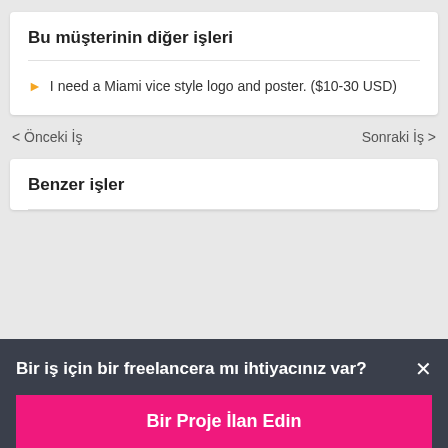Bu müşterinin diğer işleri
I need a Miami vice style logo and poster. ($10-30 USD)
< Önceki İş
Sonraki İş >
Benzer işler
Bir iş için bir freelancera mı ihtiyacınız var? ×
Bir Proje İlan Edin